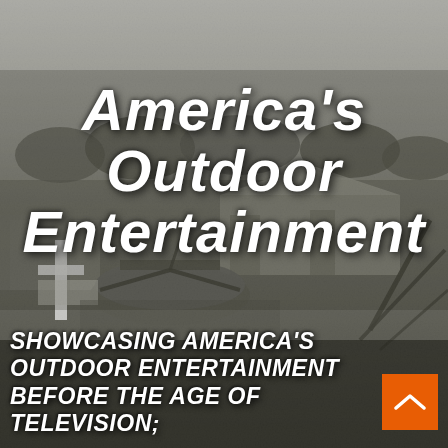[Figure (photo): Black and white aerial/elevated photograph of an outdoor entertainment venue or fairground, showing rides, tents, structures and crowds from above.]
America's Outdoor Entertainment
Showcasing America's Outdoor Entertainment Before the Age of Television;